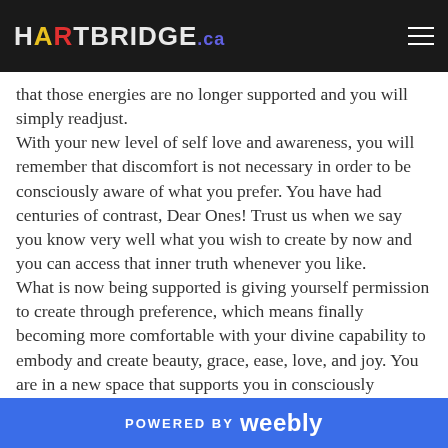HARTBRIDGE.ca
that those energies are no longer supported and you will simply readjust. With your new level of self love and awareness, you will remember that discomfort is not necessary in order to be consciously aware of what you prefer. You have had centuries of contrast, Dear Ones! Trust us when we say you know very well what you wish to create by now and you can access that inner truth whenever you like. What is now being supported is giving yourself permission to create through preference, which means finally becoming more comfortable with your divine capability to embody and create beauty, grace, ease, love, and joy. You are in a new space that supports you in consciously choosing a path of love, joy and connection!
POWERED BY weebly